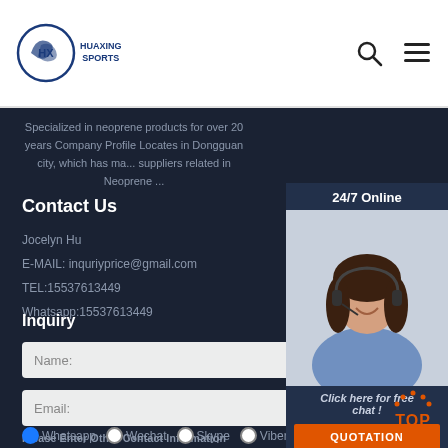HUAXING SPORTS — logo and navigation header
Specialized in neoprene products for over 20 years Company Profile Locates in Dongguan city, which has ma... suppliers related in Neoprene ...
Contact Us
Jocelyn Hu
E-MAIL: inquriyprice@gmail.com
TEL:15537613449
Whatsapp:15537613449
Inquiry
[Figure (photo): Customer service agent - woman with headset smiling, with 24/7 Online header, Click here for free chat text, and QUOTATION orange button]
Name:
Email:
Please Enter Other Contact Information
Whatsapp  Wechat  Skype  Viber